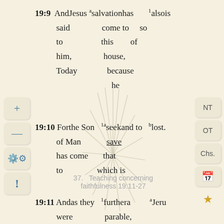19:9 And Jesus said to him, Today salvation has come to this house, because he 1also is so of
19:10 For the Son of Man has come to 1a seek and to save that which is b lost.
37. Teaching concerning faithfulness 19:11-27
19:11 And as they were listening 1further a parable, because Jeru